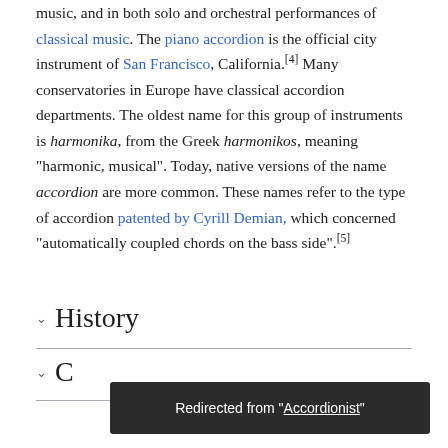music, and in both solo and orchestral performances of classical music. The piano accordion is the official city instrument of San Francisco, California.[4] Many conservatories in Europe have classical accordion departments. The oldest name for this group of instruments is harmonika, from the Greek harmonikos, meaning "harmonic, musical". Today, native versions of the name accordion are more common. These names refer to the type of accordion patented by Cyrill Demian, which concerned "automatically coupled chords on the bass side".[5]
History
C...
Redirected from "Accordionist"